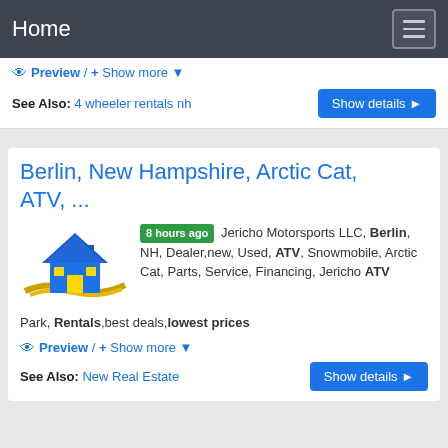Home
Preview / + Show more
See Also: 4 wheeler rentals nh
Berlin, New Hampshire, Arctic Cat, ATV, ...
[Figure (logo): House logo with blue roof and gold wave base]
8 hours ago Jericho Motorsports LLC, Berlin, NH, Dealer,new, Used, ATV, Snowmobile, Arctic Cat, Parts, Service, Financing, Jericho ATV Park, Rentals,best deals,lowest prices
Preview / + Show more
See Also: New Real Estate